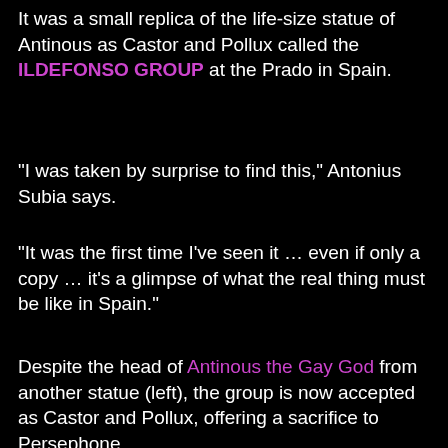It was a small replica of the life-size statue of Antinous as Castor and Pollux called the ILDEFONSO GROUP at the Prado in Spain.
"I was taken by surprise to find this," Antonius Subia says.
"It was the first time I've seen it … even if only a copy … it's a glimpse of what the real thing must be like in Spain."
Despite the head of Antinous the Gay God from another statue (left), the group is now accepted as Castor and Pollux, offering a sacrifice to Persephone.
Such an identification is based on the right-hand figure, who holds two torches, one downturned (on a flower-wreathed altar) and one upturned (behind his